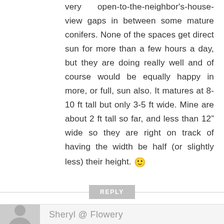very open-to-the-neighbor's-house-view gaps in between some mature conifers. None of the spaces get direct sun for more than a few hours a day, but they are doing really well and of course would be equally happy in more, or full, sun also. It matures at 8-10 ft tall but only 3-5 ft wide. Mine are about 2 ft tall so far, and less than 12" wide so they are right on track of having the width be half (or slightly less) their height. 🙂
REPLY
Sheryl @ Flowery